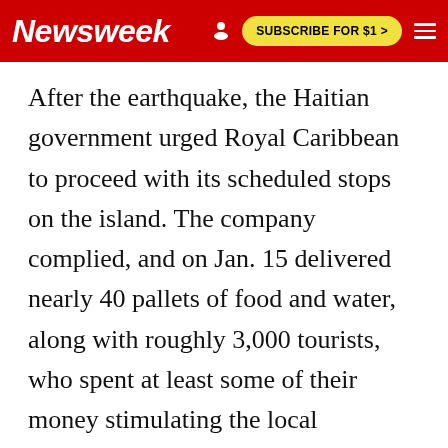Newsweek | SUBSCRIBE FOR $1 >
After the earthquake, the Haitian government urged Royal Caribbean to proceed with its scheduled stops on the island. The company complied, and on Jan. 15 delivered nearly 40 pallets of food and water, along with roughly 3,000 tourists, who spent at least some of their money stimulating the local economy. More ships followed on the 18, 19, and 22; so far, the cruise line has brought nearly 400 pallets of ur-gently needed goods ashore. In addition, the company promised to donate all money made at the Labadee resort to the relief effort